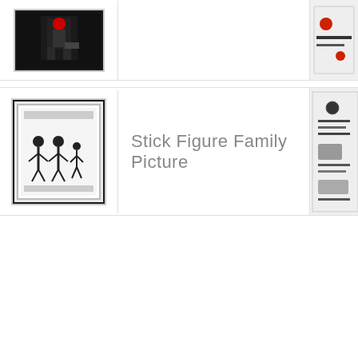[Figure (photo): Thumbnail image of a dark/black item, partially cropped at top of page]
[Figure (photo): Thumbnail image partially cropped on right side, appears to have red and black elements]
[Figure (photo): Thumbnail of a framed stick figure family picture in black and white]
Stick Figure Family Picture
[Figure (photo): Thumbnail on right side partially cropped, appears to show crafted items]